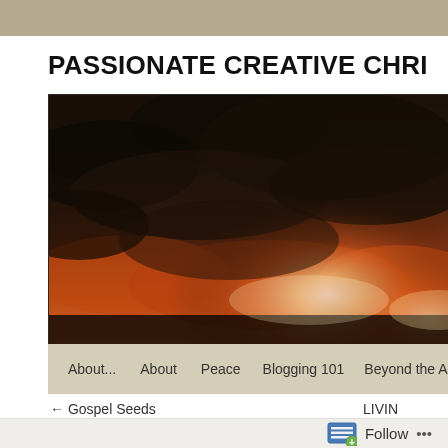PASSIONATE CREATIVE CHRI
[Figure (photo): Dramatic sunset sky with dark storm clouds and orange/red glowing light breaking through clouds]
About...    About    Peace    Blogging 101    Beyond the Ashes    A
← Gospel Seeds    LIVIN
THE FIRST A...
Follow  ...